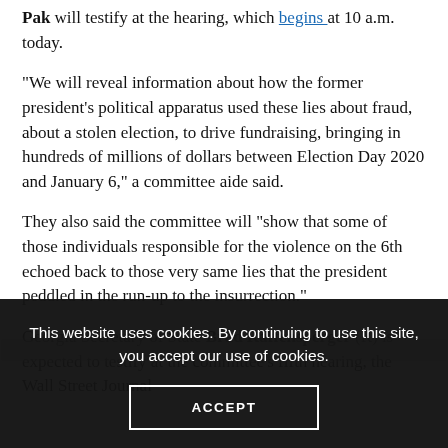Pak will testify at the hearing, which begins at 10 a.m. today.
“We will reveal information about how the former president’s political apparatus used these lies about fraud, about a stolen election, to drive fundraising, bringing in hundreds of millions of dollars between Election Day 2020 and January 6,” a committee aide said.
They also said the committee will “show that some of those individuals responsible for the violence on the 6th echoed back to those very same lies that the president peddled in the run-up to the insurrection.”
Georgia Secretary of State Brad Raffensperger (R) is expected to testify at the committee’s fifth hearing, the Wall Street Journal
This website uses cookies. By continuing to use this site, you accept our use of cookies.